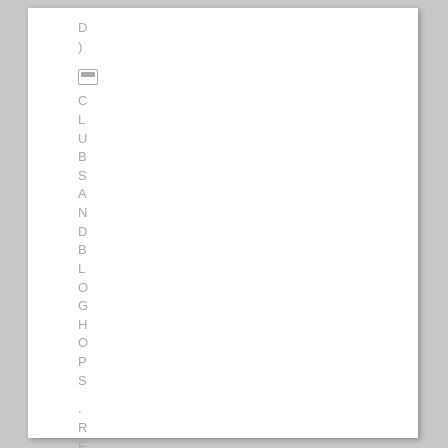D )
[Figure (other): Small folder/image icon]
CLUBS AND BLOGHOPS .RECIPES
D